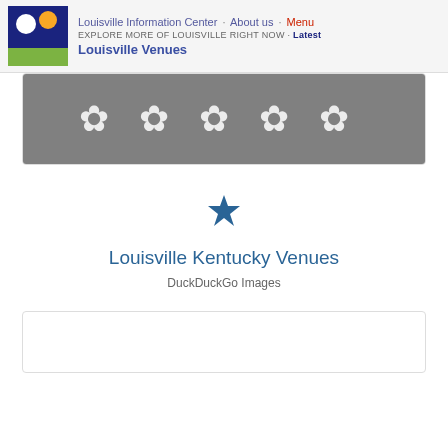Louisville Information Center · About us · Menu
EXPLORE MORE OF LOUISVILLE RIGHT NOW · Latest
Louisville Venues
[Figure (other): Gray card with five white decorative flower/snowflake symbols arranged in a row]
[Figure (other): Blue star icon]
Louisville Kentucky Venues
DuckDuckGo Images
[Figure (other): White card at bottom, mostly empty]